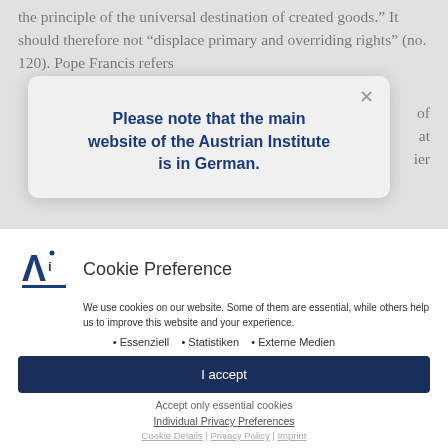the principle of the universal destination of created goods.” It should therefore not “displace primary and overriding rights” (no. 120). Pope Francis refers
[Figure (screenshot): A modal dialog box with rounded corners on a grey background reading: 'Please note that the main website of the Austrian Institute is in German.' with a close (×) button in the top right corner.]
[Figure (screenshot): Cookie Preference dialog with Austrian Institute 'Ai' logo, text about cookie usage, bullet list of Essenziell, Statistiken, Externe Medien, a dark blue 'I accept' button, 'Accept only essential cookies' text, 'Individual Privacy Preferences' link, and footer links: Cookie Details | Privacy Policy | Imprint.]